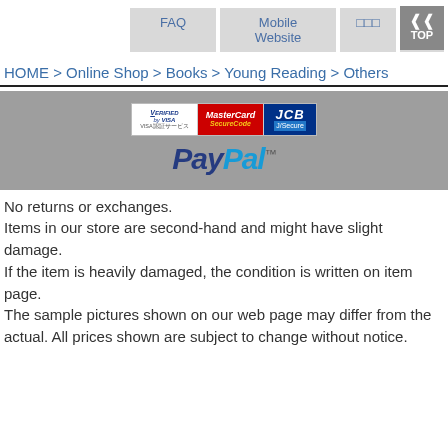FAQ  Mobile Website  □□□  □□
HOME > Online Shop > Books > Young Reading > Others
[Figure (logo): Payment logos: Verified by VISA, MasterCard SecureCode, JCB J/Secure, and PayPal]
No returns or exchanges.
Items in our store are second-hand and might have slight damage.
If the item is heavily damaged, the condition is written on item page.
The sample pictures shown on our web page may differ from the actual. All prices shown are subject to change without notice.